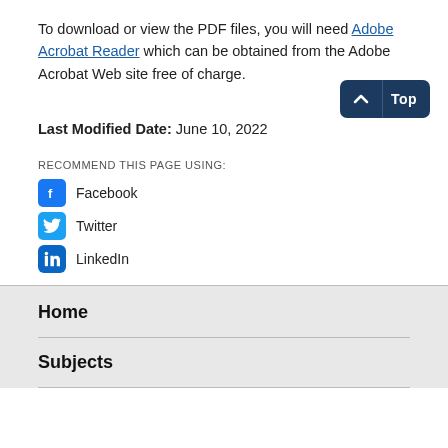To download or view the PDF files, you will need Adobe Acrobat Reader which can be obtained from the Adobe Acrobat Web site free of charge.
Last Modified Date: June 10, 2022
RECOMMEND THIS PAGE USING:
Facebook
Twitter
LinkedIn
Home
Subjects